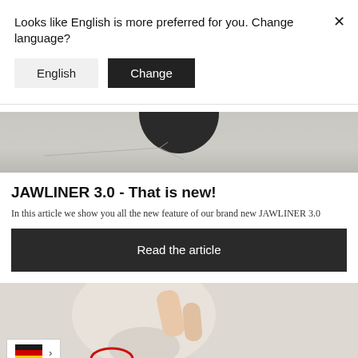Looks like English is more preferred for you. Change language?
English
Change
[Figure (photo): Top portion of a product image showing a dark circular object on a cracked stone surface]
JAWLINER 3.0 - That is new!
In this article we show you all the new feature of our brand new JAWLINER 3.0
Read the article
[Figure (photo): Hands in white gloves holding or demonstrating a product on a skull model, with a red circular marker visible]